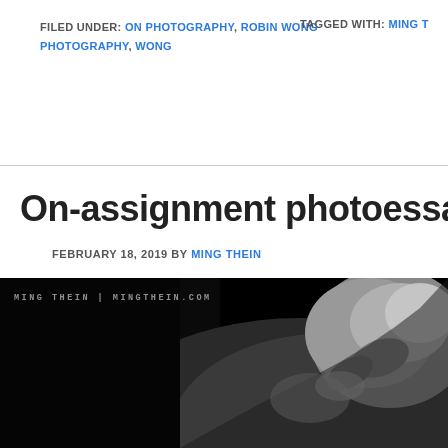FILED UNDER: ON PHOTOGRAPHY, ROBIN WONG PHOTOGRAPHY, WONG
TAGGED WITH: MING T...
On-assignment photoessay: From
FEBRUARY 18, 2019 BY MING THEIN
[Figure (photo): Black and white close-up photograph of hands, with a watermark reading 'MING THEIN | MINGTHEIN.COM' in the upper left corner. The image shows detailed texture of skin and fabric in monochrome.]